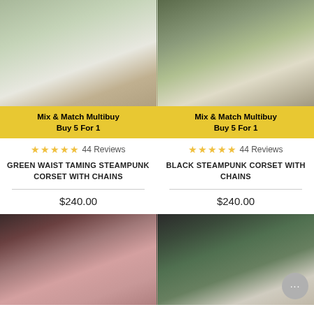[Figure (photo): Green waist taming steampunk corset worn by a model, with black mesh bottom panel and decorative chains]
Mix & Match Multibuy
Buy 5 For 1
★★★★★ 44 Reviews
GREEN WAIST TAMING STEAMPUNK CORSET WITH CHAINS
$240.00
[Figure (photo): Black steampunk corset with gold chains worn by a model outdoors with green background]
Mix & Match Multibuy
Buy 5 For 1
★★★★★ 44 Reviews
BLACK STEAMPUNK CORSET WITH CHAINS
$240.00
[Figure (photo): Model wearing a pink/magenta satin underbust corset with black bra, hair accessory visible]
[Figure (photo): Model wearing a green and black steampunk-style corset top with chains, chat bubble visible]